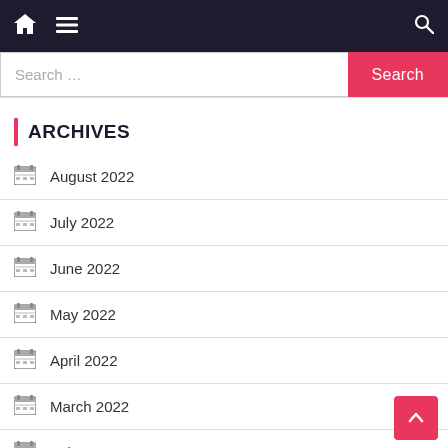Navigation bar with home, menu, and search icons
Search …
ARCHIVES
August 2022
July 2022
June 2022
May 2022
April 2022
March 2022
February 2022
January 2022